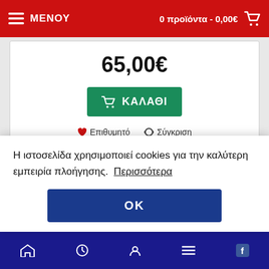ΜΕΝΟΥ | 0 προϊόντα - 0,00€
65,00€
ΚΑΛΑΘΙ
♥ Επιθυμητό  ⟳ Σύγκριση
[Figure (screenshot): Empty product card with white background, partially visible biscuit/cookie product image in bottom-right corner]
Η ιστοσελίδα χρησιμοποιεί cookies για την καλύτερη εμπειρία πλοήγησης.  Περισσότερα
OK
Navigation footer bar with icons